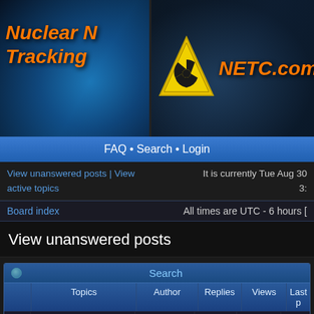[Figure (screenshot): NETC.com nuclear tracking forum website banner with hazard symbol and orange italic title text]
FAQ • Search • Login
View unanswered posts | View active topics — It is currently Tue Aug 30 3:… — All times are UTC - 6 hours [
View unanswered posts
| Topics | Author | Replies | Views | Last p... |
| --- | --- | --- | --- | --- |
| Radium in my garage in Nuclear Chat | ammdb | 0 | 45511 | Sun Au 2014 8:… ammd… |
| A virtual special |  |  |  | Tue Ma… |